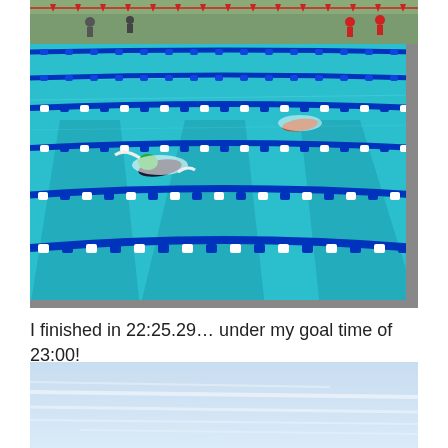[Figure (photo): Outdoor swimming pool during a competition, viewed from above at an angle. Blue lane dividers separate multiple lanes. A swimmer in a green cap is visible in one lane, with water splashing. Red and white pennant flags are strung above the pool in the background. Spectators and trees are visible in the background.]
I finished in 22:25.29… under my goal time of 23:00!
[Figure (photo): Light blue sky with faint horizontal cloud streaks, partial view cropped at bottom of page.]